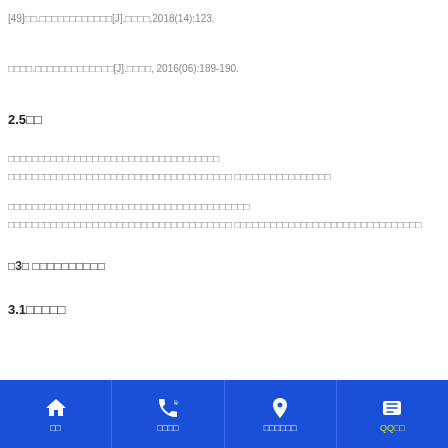[49]□□.□□□□□□□□□□□□[J].□□□□,2018(14):123.
□□□□.□□□□□□□□□□□□□[J].□□□□, 2016(06):189-190.
2.5□□
□□□□□□□□□□□□□□□□□□□□□□□□□□□□□□□□□□□ □□□□□□□□□□□□□□□□□□□□□□□□□□□□□□□□□□□□□ □□□□□□□□□□□□□□□□
□□□□□□□□□□□□□□□□□□□□□□□□□□□□□□□□□□□□□□□□ □□□□□□□□□□□□□□□□□□□□□□□□□□□□□□□□□□□□□ □□□□□□□□□□□□□□□□□□□□□□□□□□□□□□□□□□□□□ □□□□□□□□□□□□□□□□□□□□□□□□□□□□□□□□□□□□□□□□□□□□
□3□ □□□□□□□□□□
3.1□□□□□
□□ □□□□ □□□□□□ QQ□□